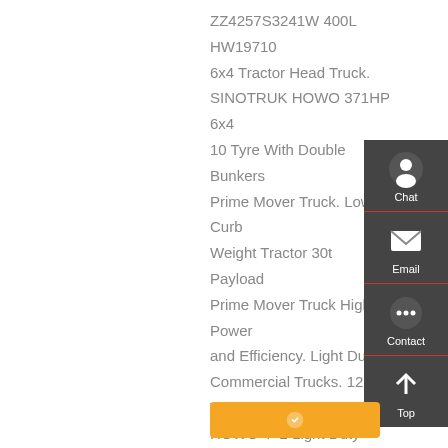ZZ4257S3241W 400L HW19710 6x4 Tractor Head Truck. SINOTRUK HOWO 371HP 6x4 10 Tyre With Double Bunkers Prime Mover Truck. Low Curb Weight Tractor 30t Payload Prime Mover Truck High Power and Efficiency. Light Duty Commercial Trucks. 12 Ton HOWO 4×2 Light Duty Dump Truck With 105HP EuroII Lifting 6 Tires. HOWO 4×2 High Safety Suction Sewage Truck Overall Dimensions ...
[Figure (infographic): Sidebar with chat, email, contact, and top navigation icons on dark grey background with red separators]